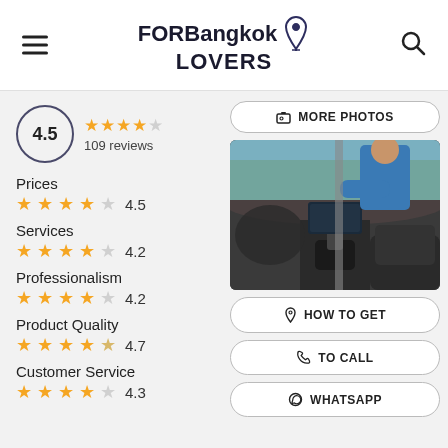FORBangkok LOVERS
4.5 · 109 reviews
Prices ★★★★☆ 4.5
Services ★★★★☆ 4.2
Professionalism ★★★★☆ 4.2
Product Quality ★★★★½ 4.7
Customer Service ★★★★☆ 4.3
[Figure (photo): Person cleaning the interior of a car, wiping dashboard, viewed from outside through window]
MORE PHOTOS
HOW TO GET
TO CALL
WHATSAPP